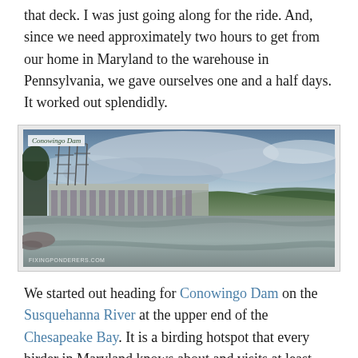that deck. I was just going along for the ride. And, since we need approximately two hours to get from our home in Maryland to the warehouse in Pennsylvania, we gave ourselves one and a half days. It worked out splendidly.
[Figure (photo): Wide panoramic photograph of Conowingo Dam on the Susquehanna River. The dam structure with power transmission towers is visible on the left, a long concrete spillway extends across the center, with a wide river in the foreground and green hills and cloudy sky in the background. A label reading 'Conowingo Dam' appears in the upper-left corner.]
We started out heading for Conowingo Dam on the Susquehanna River at the upper end of the Chesapeake Bay. It is a birding hotspot that every birder in Maryland knows about and visits at least once a year....mostly in winter. The attraction is the Bald Eagles who fish and